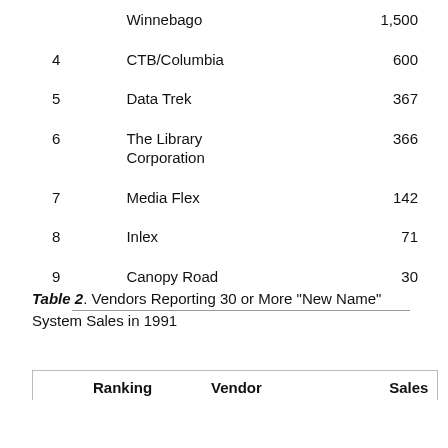|  | Vendor | Sales |
| --- | --- | --- |
|  | Winnebago | 1,500 |
| 4 | CTB/Columbia | 600 |
| 5 | Data Trek | 367 |
| 6 | The Library Corporation | 366 |
| 7 | Media Flex | 142 |
| 8 | Inlex | 71 |
| 9 | Canopy Road | 30 |
Table 2. Vendors Reporting 30 or More "New Name" System Sales in 1991
| Ranking | Vendor | Sales |
| --- | --- | --- |